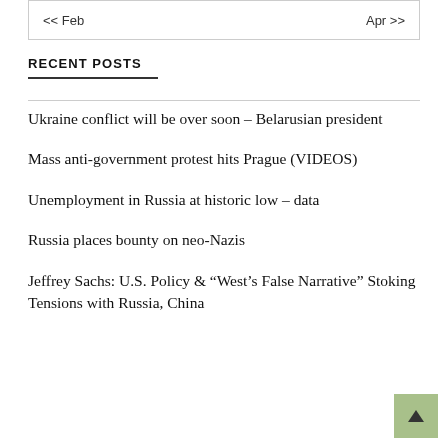<< Feb    Apr >>
RECENT POSTS
Ukraine conflict will be over soon – Belarusian president
Mass anti-government protest hits Prague (VIDEOS)
Unemployment in Russia at historic low – data
Russia places bounty on neo-Nazis
Jeffrey Sachs: U.S. Policy & “West’s False Narrative” Stoking Tensions with Russia, China